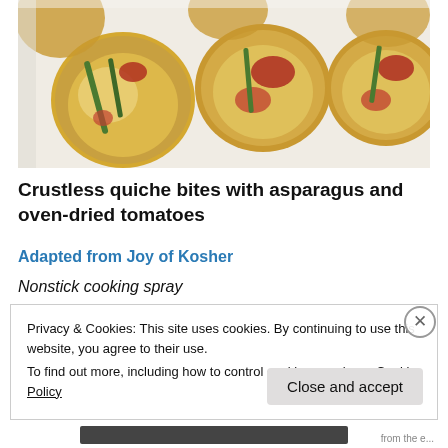[Figure (photo): Overhead photo of crustless quiche bites with asparagus and oven-dried tomatoes arranged on a white plate]
Crustless quiche bites with asparagus and oven-dried tomatoes
Adapted from Joy of Kosher
Nonstick cooking spray
Privacy & Cookies: This site uses cookies. By continuing to use this website, you agree to their use.
To find out more, including how to control cookies, see here: Cookie Policy
Close and accept